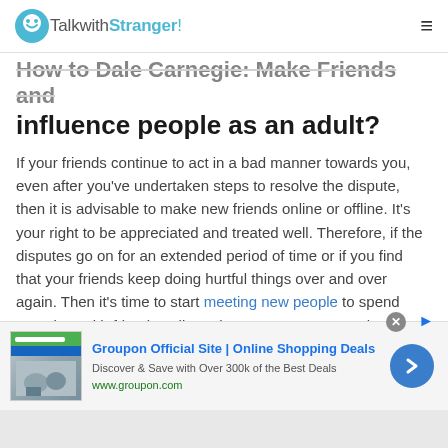TalkwithStranger!
How to Dale Carnegie: Make Friends and influence people as an adult?
If your friends continue to act in a bad manner towards you, even after you've undertaken steps to resolve the dispute, then it is advisable to make new friends online or offline. It's your right to be appreciated and treated well. Therefore, if the disputes go on for an extended period of time or if you find that your friends keep doing hurtful things over and over again. Then it's time to start meeting new people to spend your time with friends online. There are some great places to meet new friends online like
[Figure (screenshot): Groupon advertisement banner: Groupon Official Site | Online Shopping Deals. Discover & Save with Over 300k of the Best Deals. www.groupon.com]